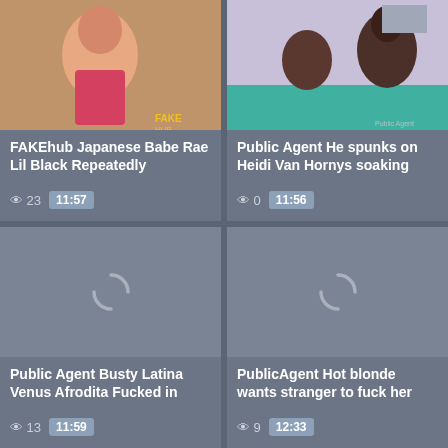[Figure (photo): Video thumbnail showing woman in pink top on couch with FAKE watermark]
FAKEhub Japanese Babe Rae Lil Black Repeatedly
23  11:57
[Figure (photo): Video thumbnail showing two people on teal table]
Public Agent He spunks on Heidi Van Hornys soaking
0  11:56
[Figure (photo): Loading spinner on grey background]
Public Agent Busty Latina Venus Afrodita Fucked in
13  11:59
[Figure (photo): Loading spinner on grey background]
PublicAgent Hot blonde wants stranger to fuck her
9  12:33